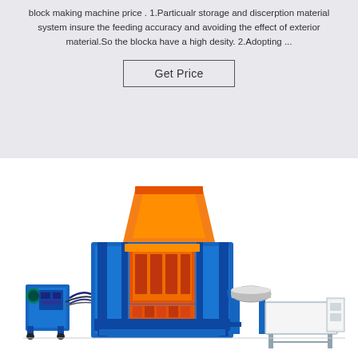block making machine price . 1.Particualr storage and discerption material system insure the feeding accuracy and avoiding the effect of exterior material.So the blocka have a high desity. 2.Adopting ...
Get Price
[Figure (photo): A blue and orange industrial block making machine with conveyor system, hydraulic unit on the left, main press unit in the center with orange components, and output conveyor/pallet system on the right.]